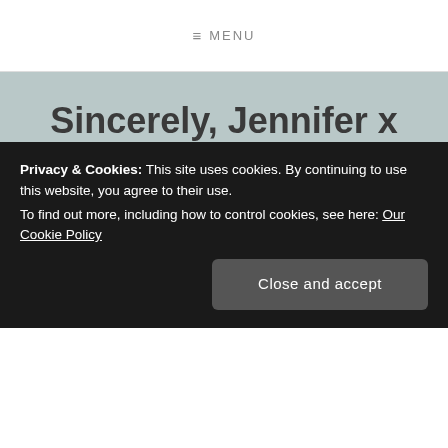≡ MENU
Sincerely, Jennifer x
The official website of author and musician Jennifer Juan
BLOG, PRIDE MONTH 2021
The Pride Guide – Starting in 30
Privacy & Cookies: This site uses cookies. By continuing to use this website, you agree to their use.
To find out more, including how to control cookies, see here: Our Cookie Policy
Close and accept